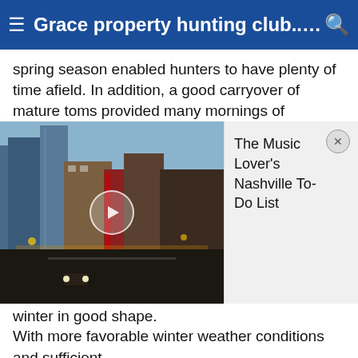Grace property hunting club...ha...
spring season enabled hunters to have plenty of time afield. In addition, a good carryover of mature toms provided many mornings of recreation for Mountain State hunters."
[Figure (screenshot): Video thumbnail of Nashville city street at night with play button overlay, beside a card reading 'The Music Lover's Nashville To-Do List' with a close (X) button]
winter in good shape.
With more favorable winter weather conditions and sufficient fall foods, there should be an abundance of gobblers for the 2011 spring season, Taylor predicted.
**DNR**
West Virginia Spring Wild Turkey Harvest , 2006-2010
County 2006 2007 2008 2009 2010